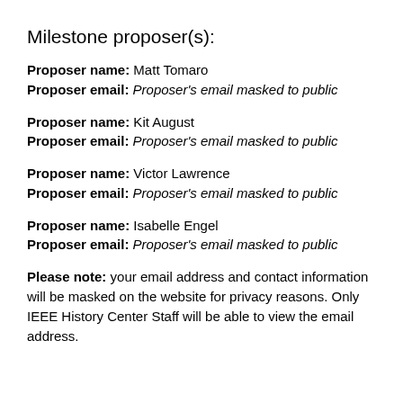Milestone proposer(s):
Proposer name: Matt Tomaro
Proposer email: Proposer's email masked to public
Proposer name: Kit August
Proposer email: Proposer's email masked to public
Proposer name: Victor Lawrence
Proposer email: Proposer's email masked to public
Proposer name: Isabelle Engel
Proposer email: Proposer's email masked to public
Please note: your email address and contact information will be masked on the website for privacy reasons. Only IEEE History Center Staff will be able to view the email address.